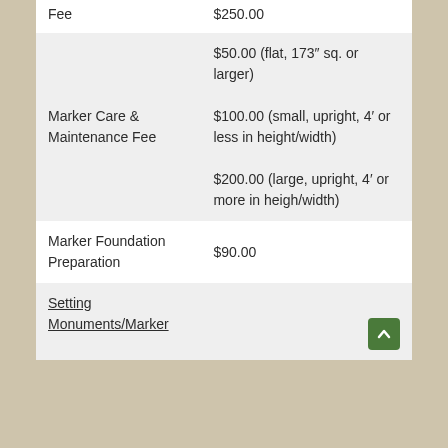| Service | Fee |
| --- | --- |
| Fee | $250.00 |
| Marker Care & Maintenance Fee | $50.00 (flat, 173" sq. or larger)
$100.00 (small, upright, 4' or less in height/width)
$200.00 (large, upright, 4' or more in heigh/width) |
| Marker Foundation Preparation | $90.00 |
| Setting Monuments/Marker |  |